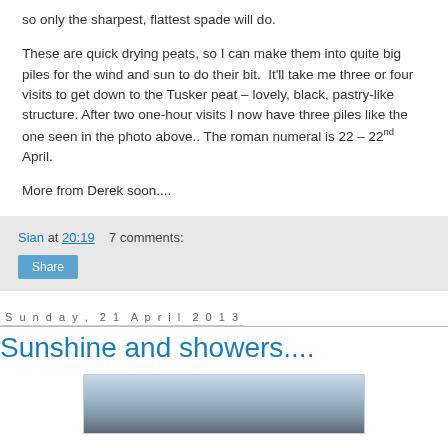so only the sharpest, flattest spade will do.
These are quick drying peats, so I can make them into quite big piles for the wind and sun to do their bit.  It'll take me three or four visits to get down to the Tusker peat – lovely, black, pastry-like structure. After two one-hour visits I now have three piles like the one seen in the photo above.. The roman numeral is 22 – 22nd April.
More from Derek soon....
Sian at 20:19    7 comments:
Share
Sunday, 21 April 2013
Sunshine and showers....
[Figure (photo): Landscape photo partially visible at bottom of page, showing sky and horizon scene]